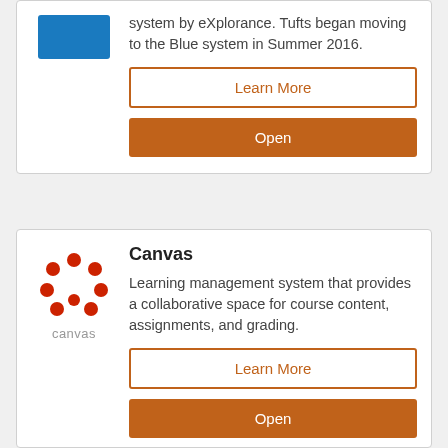[Figure (logo): Blue logo square for course evaluation system]
Blue is a course evaluation system by eXplorance. Tufts began moving to the Blue system in Summer 2016.
Learn More
Open
[Figure (logo): Canvas LMS logo - red circular dots pattern with 'canvas' text below]
Canvas
Learning management system that provides a collaborative space for course content, assignments, and grading.
Learn More
Open